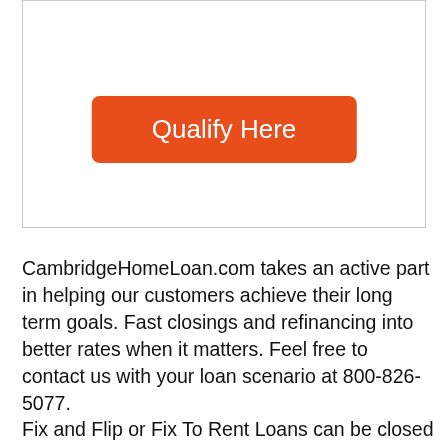[Figure (other): A bordered box containing an orange 'Qualify Here' button centered within it.]
CambridgeHomeLoan.com takes an active part in helping our customers achieve their long term goals. Fast closings and refinancing into better rates when it matters. Feel free to contact us with your loan scenario at 800-826-5077.
Fix and Flip or Fix To Rent Loans can be closed in just 5-7 days. If you would like to prepare for your first deal contact us for a soft quote and our due diligence check list.
From your first investment real estate loan to putting